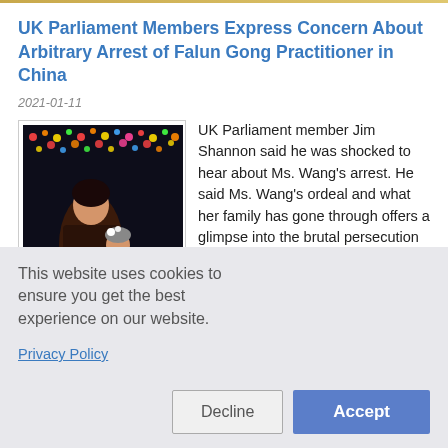UK Parliament Members Express Concern About Arbitrary Arrest of Falun Gong Practitioner in China
2021-01-11
[Figure (photo): Photo of a woman and a young child, taken at night with colorful festive lights in the background. The woman is wearing a dark coat.]
UK Parliament member Jim Shannon said he was shocked to hear about Ms. Wang's arrest. He said Ms. Wang's ordeal and what her family has gone through offers a glimpse into the brutal persecution campaign against Falun Gong practitioners in China in the past two decades.
more ...
This website uses cookies to ensure you get the best experience on our website.
Privacy Policy